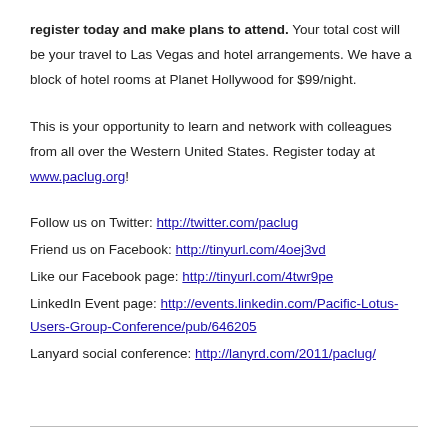register today and make plans to attend. Your total cost will be your travel to Las Vegas and hotel arrangements. We have a block of hotel rooms at Planet Hollywood for $99/night.
This is your opportunity to learn and network with colleagues from all over the Western United States. Register today at www.paclug.org!
Follow us on Twitter: http://twitter.com/paclug
Friend us on Facebook: http://tinyurl.com/4oej3vd
Like our Facebook page: http://tinyurl.com/4twr9pe
LinkedIn Event page: http://events.linkedin.com/Pacific-Lotus-Users-Group-Conference/pub/646205
Lanyard social conference: http://lanyrd.com/2011/paclug/